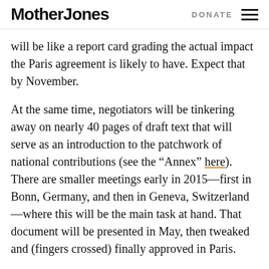Mother Jones   DONATE
will be like a report card grading the actual impact the Paris agreement is likely to have. Expect that by November.
At the same time, negotiators will be tinkering away on nearly 40 pages of draft text that will serve as an introduction to the patchwork of national contributions (see the “Annex” here). There are smaller meetings early in 2015—first in Bonn, Germany, and then in Geneva, Switzerland—where this will be the main task at hand. That document will be presented in May, then tweaked and (fingers crossed) finally approved in Paris.
Stay tuned over the next several months for